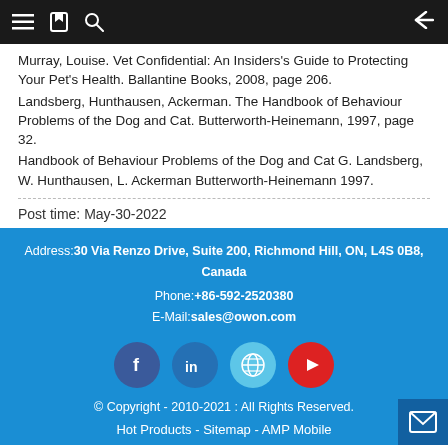Navigation bar with menu, bookmark, search icons and back arrow
Murray, Louise. Vet Confidential: An Insiders's Guide to Protecting Your Pet's Health. Ballantine Books, 2008, page 206.
Landsberg, Hunthausen, Ackerman. The Handbook of Behaviour Problems of the Dog and Cat. Butterworth-Heinemann, 1997, page 32.
Handbook of Behaviour Problems of the Dog and Cat G. Landsberg, W. Hunthausen, L. Ackerman Butterworth-Heinemann 1997.
Post time: May-30-2022
Address:30 Via Renzo Drive, Suite 200, Richmond Hill, ON, L4S 0B8, Canada
Phone:+86-592-2520380
E-Mail:sales@owon.com
© Copyright - 2010-2021 : All Rights Reserved.
Hot Products - Sitemap - AMP Mobile